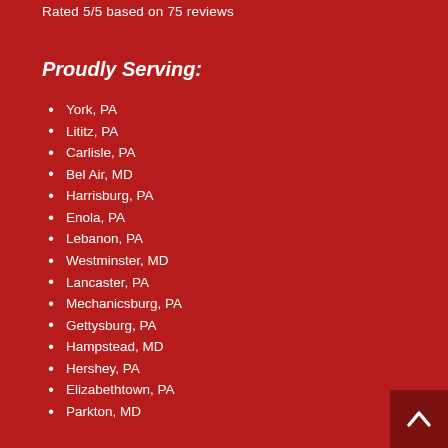Rated 5/5 based on 75 reviews
Proudly Serving:
York, PA
Lititz, PA
Carlisle, PA
Bel Air, MD
Harrisburg, PA
Enola, PA
Lebanon, PA
Westminster, MD
Lancaster, PA
Mechanicsburg, PA
Gettysburg, PA
Hampstead, MD
Hershey, PA
Elizabethtown, PA
Parkton, MD